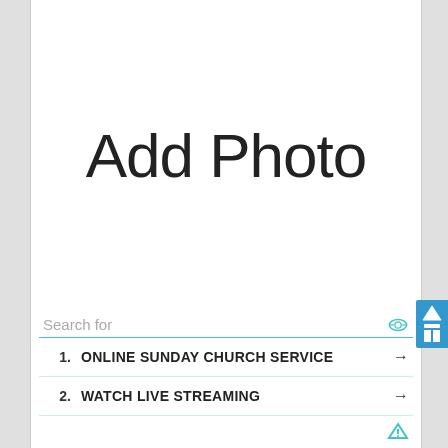[Figure (other): Add Photo placeholder area — large grey/white box with text 'Add Photo' centered]
Search for
1. ONLINE SUNDAY CHURCH SERVICE →
2. WATCH LIVE STREAMING →